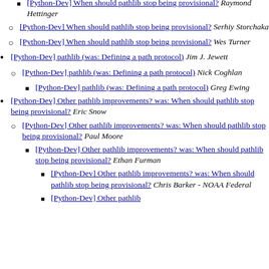[Python-Dev] When should pathlib stop being provisional? Raymond Hettinger
[Python-Dev] When should pathlib stop being provisional? Serhiy Storchaka
[Python-Dev] When should pathlib stop being provisional? Wes Turner
[Python-Dev] pathlib (was: Defining a path protocol) Jim J. Jewett
[Python-Dev] pathlib (was: Defining a path protocol) Nick Coghlan
[Python-Dev] pathlib (was: Defining a path protocol) Greg Ewing
[Python-Dev] Other pathlib improvements? was: When should pathlib stop being provisional? Eric Snow
[Python-Dev] Other pathlib improvements? was: When should pathlib stop being provisional? Paul Moore
[Python-Dev] Other pathlib improvements? was: When should pathlib stop being provisional? Ethan Furman
[Python-Dev] Other pathlib improvements? was: When should pathlib stop being provisional? Chris Barker - NOAA Federal
[Python-Dev] Other pathlib